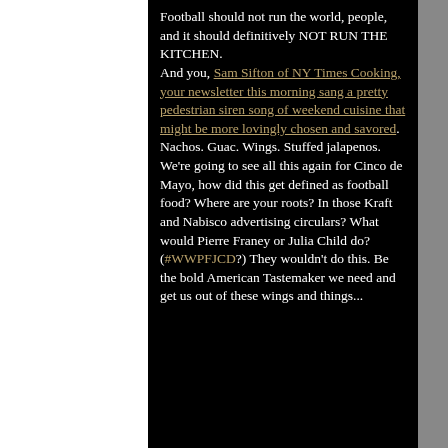Football should not run the world, people, and it should definitively NOT RUN THE KITCHEN. And you, Sam Sifton of NY Times Cooking, your newsletter this morning sang a pretty pedestrian siren song of weekend cuisine that might be more lovingly chosen and savored. Nachos. Guac. Wings. Stuffed jalapenos. We're going to see all this again for Cinco de Mayo, how did this get defined as football food? Where are your roots? In those Kraft and Nabisco advertising circulars? What would Pierre Franey or Julia Child do? (#WWPFJCD?) They wouldn't do this. Be the bold American Tastemaker we need and get us out of these wings and things...